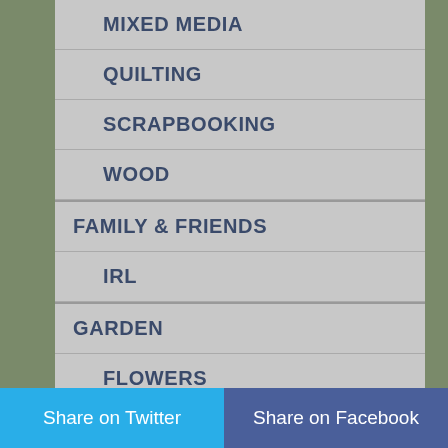MIXED MEDIA
QUILTING
SCRAPBOOKING
WOOD
FAMILY & FRIENDS
IRL
GARDEN
FLOWERS
HEALTH
CAREGIVING
FIBROMYALGIA
HIATAL HERNIA
Share on Twitter
Share on Facebook